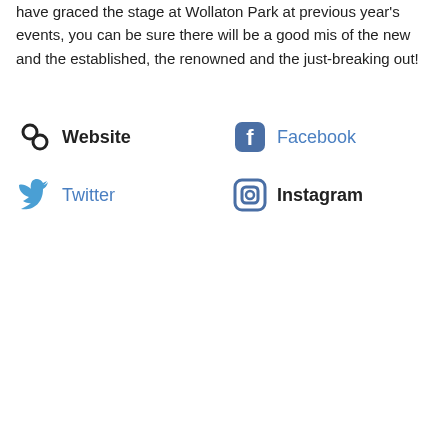have graced the stage at Wollaton Park at previous year's events, you can be sure there will be a good mis of the new and the established, the renowned and the just-breaking out!
Website
Facebook
Twitter
Instagram